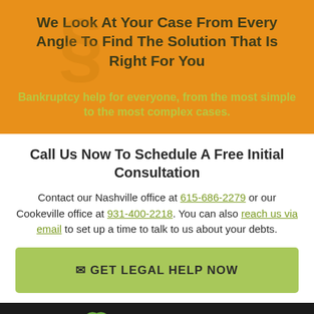We Look At Your Case From Every Angle To Find The Solution That Is Right For You
Bankruptcy help for everyone, from the most simple to the most complex cases.
Call Us Now To Schedule A Free Initial Consultation
Contact our Nashville office at 615-686-2279 or our Cookeville office at 931-400-2218. You can also reach us via email to set up a time to talk to us about your debts.
✉ GET LEGAL HELP NOW
[Figure (logo): Leekovitz law firm logo with circular icon and text LEEKOVITZ in dark footer bar]